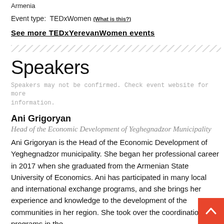Armenia
Event type:  TEDxWomen (What is this?)
See more TEDxYerevanWomen events
Speakers
Speakers may not be confirmed. Check event website for more information.
Ani Grigoryan
Head of the Economic Development of Yeghegnadzor Municipality
Ani Grigoryan is the Head of the Economic Development of Yeghegnadzor municipality. She began her professional career in 2017 when she graduated from the Armenian State University of Economics. Ani has participated in many local and international exchange programs, and she brings her experience and knowledge to the development of the communities in her region. She took over the coordination of programs in the